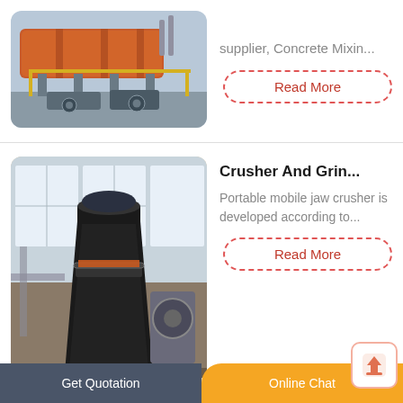[Figure (photo): Industrial rotary kiln machinery in a factory setting, large orange/red cylindrical drum with yellow railings and pipes]
supplier, Concrete Mixin...
Read More
[Figure (photo): Large black conical crusher and grinding mill machine in an industrial warehouse]
Crusher And Grin...
Portable mobile jaw crusher is developed according to...
Read More
[Figure (photo): Jaw crusher machine with large yellow flywheels in an industrial building]
China Low Invest...
Low Investment Energy Saving Gold Crushing...
Get Quotation
Online Chat